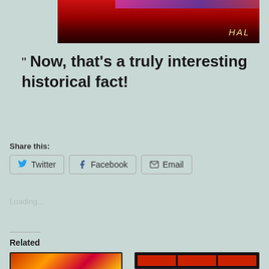[Figure (photo): Partial photo showing a dark red/crimson stage or venue with a screen at the top and 'HAL' written in yellow cursive at the bottom right]
“ Now, that’s a truly interesting historical fact!
Share this:
Twitter  Facebook  Email
Loading...
Related